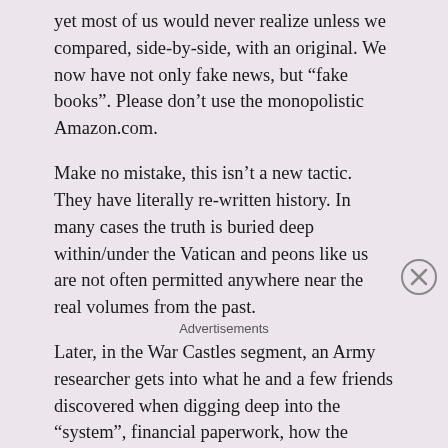yet most of us would never realize unless we compared, side-by-side, with an original. We now have not only fake news, but “fake books”. Please don’t use the monopolistic Amazon.com.
Make no mistake, this isn’t a new tactic. They have literally re-written history. In many cases the truth is buried deep within/under the Vatican and peons like us are not often permitted anywhere near the real volumes from the past.
Later, in the War Castles segment, an Army researcher gets into what he and a few friends discovered when digging deep into the “system”, financial paperwork, how the globalists have always ruled the world in totality, and had their fingers in
Advertisements